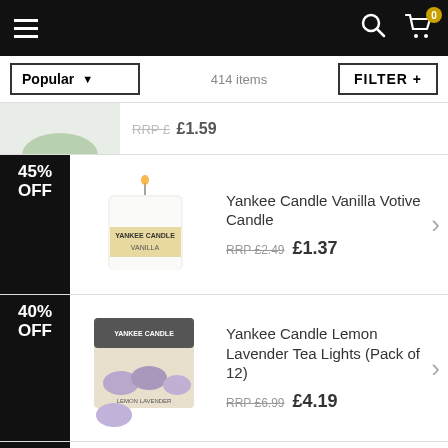[Figure (screenshot): Mobile app navigation bar with hamburger menu, search icon, and cart icon showing 0 items]
Popular | 414 items | FILTER +
[Figure (photo): 45% OFF badge with Yankee Candle Vanilla Votive Candle product image]
Yankee Candle Vanilla Votive Candle
RRP £2.49 £1.37
[Figure (photo): 40% OFF badge with Yankee Candle Lemon Lavender Tea Lights Pack of 12 product image]
Yankee Candle Lemon Lavender Tea Lights (Pack of 12)
RRP £6.99 £4.19
10%